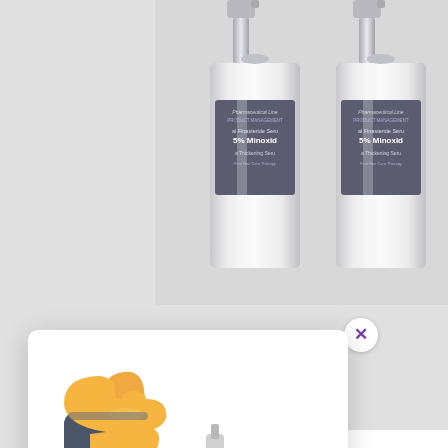[Figure (photo): Two white cylindrical cosmetic bottles with gray labels reading 'Pharmaceutical Line 5% Minoxidil Thickening Serum' displayed on light gray background]
[Figure (illustration): Close-up button with purple X mark for closing a popup]
ution With 5% Minoxidil
acturing Private Label
reviews
[Figure (illustration): Thumbs up emoji icon (cartoon style with orange/gold hand and dark sleeve)]
Jordan Massey
[Figure (other): 5 gold star rating icons]
recently bought: "Excellent product, I saw result in less than 2 weeks. I need private label prices"